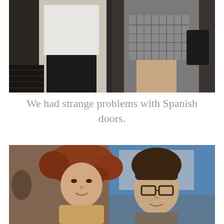[Figure (photo): Two people standing in or near a door/elevator area. One person wearing a white shirt and black pants on the left, another wearing a plaid/checkered skirt and carrying a black bag on the right. Photo taken from below, showing mainly the lower bodies.]
We had strange problems with Spanish doors.
[Figure (photo): A man and a woman sitting together at a restaurant or cafe. The woman has curly reddish-brown hair, and the man is wearing glasses and a grey/brown shirt. They appear to be smiling at the camera.]